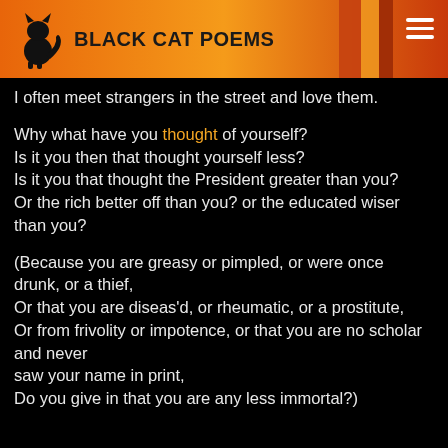BLACK CAT POEMS
I often meet strangers in the street and love them.

Why what have you thought of yourself?
Is it you then that thought yourself less?
Is it you that thought the President greater than you?
Or the rich better off than you? or the educated wiser than you?

(Because you are greasy or pimpled, or were once drunk, or a thief,
Or that you are diseas'd, or rheumatic, or a prostitute,
Or from frivolity or impotence, or that you are no scholar and never saw your name in print,
Do you give in that you are any less immortal?)